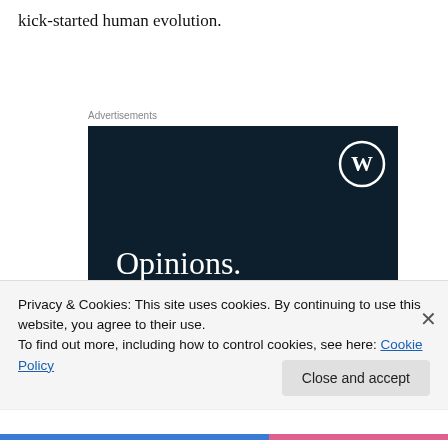kick-started human evolution.
Advertisements
[Figure (illustration): WordPress.com advertisement banner with dark navy background, WordPress logo (W in circle) top right, text reading 'Opinions. We all have them!' in white, pink button and grey circle at bottom.]
Privacy & Cookies: This site uses cookies. By continuing to use this website, you agree to their use.
To find out more, including how to control cookies, see here: Cookie Policy
Close and accept